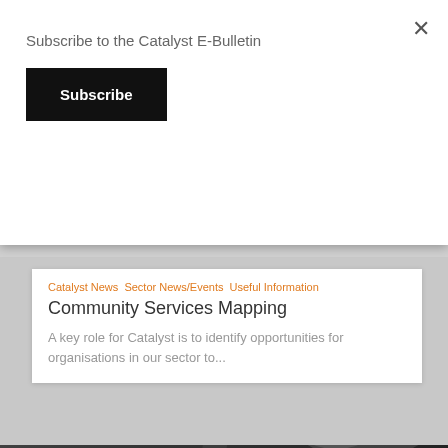Subscribe to the Catalyst E-Bulletin
Subscribe
Catalyst News Sector News/Events Useful Information
Community Services Mapping
A key role for Catalyst is to identify opportunities for organisations in our sector to...
[Figure (photo): Fuel Poverty in 2022-2023 banner image showing an energy meter/display device with budget and kWh readings, overlaid with large bold white text reading 'Fuel Poverty in 2022-2023']